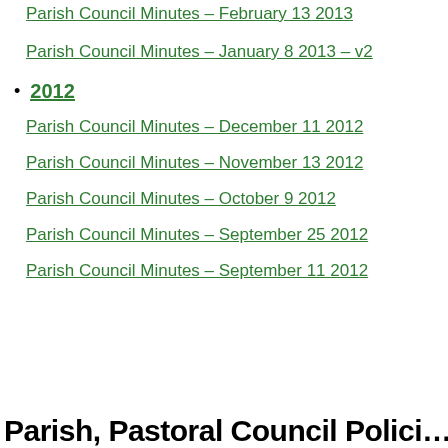Parish Council Minutes – February 13 2013
Parish Council Minutes – January 8 2013 – v2
2012
Parish Council Minutes – December 11 2012
Parish Council Minutes – November 13 2012
Parish Council Minutes – October 9 2012
Parish Council Minutes – September 25 2012
Parish Council Minutes – September 11 2012
Parish, Pastoral Council Policies